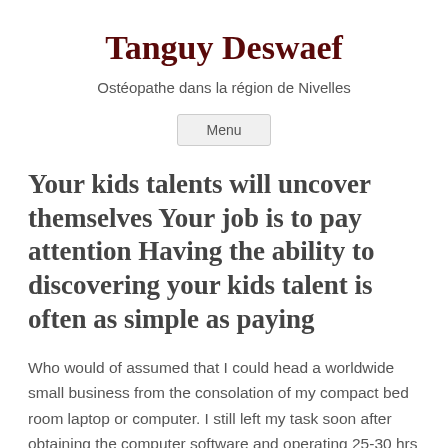Tanguy Deswaef
Ostéopathe dans la région de Nivelles
Menu
Your kids talents will uncover themselves Your job is to pay attention Having the ability to discovering your kids talent is often as simple as paying
Who would of assumed that I could head a worldwide small business from the consolation of my compact bed room laptop or computer. I still left my task soon after obtaining the computer software and operating 25-30 hrs per week with the resume enterprise.